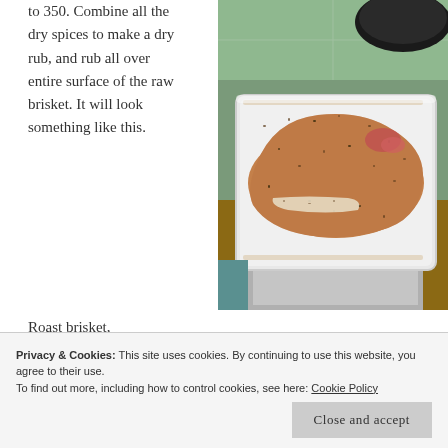Preheat the oven to 350. Combine all the dry spices to make a dry rub, and rub all over entire surface of the raw brisket. It will look something like this.
[Figure (photo): A raw beef brisket coated with dry spice rub, sitting in a white rectangular plastic container/pan on a kitchen counter.]
Roast brisket,
Privacy & Cookies: This site uses cookies. By continuing to use this website, you agree to their use.
To find out more, including how to control cookies, see here: Cookie Policy
Close and accept